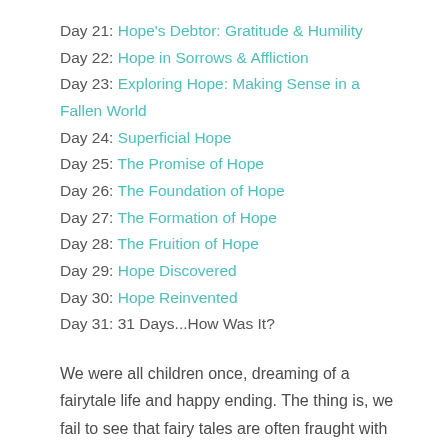Day 21: Hope's Debtor: Gratitude & Humility
Day 22: Hope in Sorrows & Affliction
Day 23: Exploring Hope: Making Sense in a Fallen World
Day 24: Superficial Hope
Day 25: The Promise of Hope
Day 26: The Foundation of Hope
Day 27: The Formation of Hope
Day 28: The Fruition of Hope
Day 29: Hope Discovered
Day 30: Hope Reinvented
Day 31: 31 Days...How Was It?
We were all children once, dreaming of a fairytale life and happy ending. The thing is, we fail to see that fairy tales are often fraught with suffering before the main character gets to a place of peace and blessing. So it is